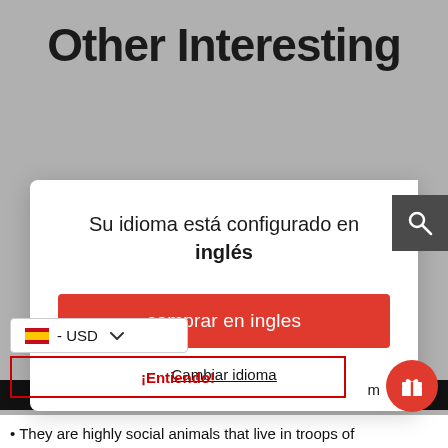Other Interesting
[Figure (screenshot): A language/region modal dialog over a website. The modal says 'Su idioma está configurado en inglés' with a red button 'comprar en ingles' and a link 'Cambiar idioma'. Bottom left shows a Spanish flag with '- USD' dropdown. Bottom shows '¡Entiendo!' button outline and a red gift circle icon. Background shows search icon top right.]
Su idioma está configurado en inglés
comprar en ingles
Cambiar idioma
🇪🇸 - USD
¡Entiendo!
They are highly social animals that live in troops of